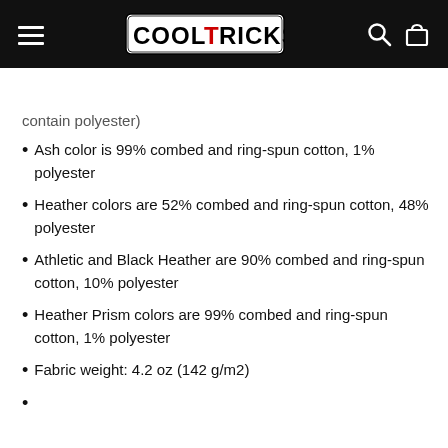COOLTRICKS
contain polyester)
Ash color is 99% combed and ring-spun cotton, 1% polyester
Heather colors are 52% combed and ring-spun cotton, 48% polyester
Athletic and Black Heather are 90% combed and ring-spun cotton, 10% polyester
Heather Prism colors are 99% combed and ring-spun cotton, 1% polyester
Fabric weight: 4.2 oz (142 g/m2)